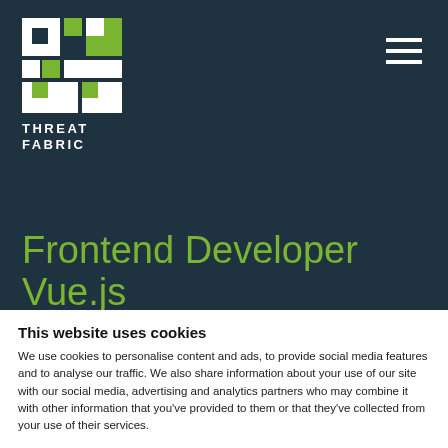[Figure (logo): ThreatFabric logo: white and green geometric puzzle-piece style icon with text THREAT FABRIC below in white capitals]
Frontend Developer Vue.js
Come work with us
This website uses cookies
We use cookies to personalise content and ads, to provide social media features and to analyse our traffic. We also share information about your use of our site with our social media, advertising and analytics partners who may combine it with other information that you've provided to them or that they've collected from your use of their services.